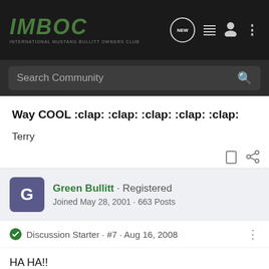[Figure (logo): IMBOC International Mustang Bullitt Owners Club logo in green italic text on dark background]
Search Community
Way COOL :clap: :clap: :clap: :clap: :clap:
Terry
Green Bullitt · Registered
Joined May 28, 2001 · 663 Posts
Discussion Starter · #7 · Aug 16, 2008
HA HA!!